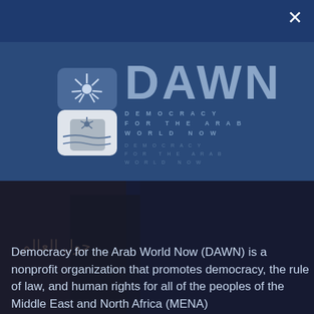[Figure (logo): DAWN - Democracy for the Arab World Now logo with sun rays icon and full text]
DONATE TODAY →
ABOUT US
[Figure (photo): Background photo of a person, partially visible, with Arabic text overlay]
Democracy for the Arab World Now (DAWN) is a nonprofit organization that promotes democracy, the rule of law, and human rights for all of the peoples of the Middle East and North Africa (MENA)